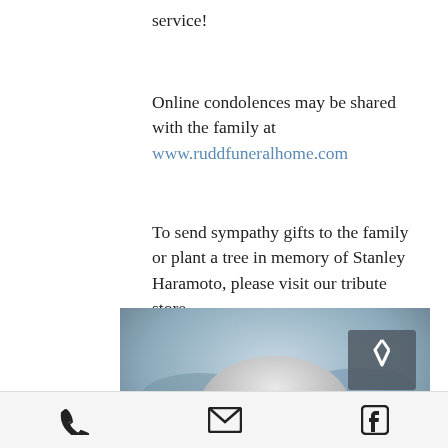service!
Online condolences may be shared with the family at www.ruddfuneralhome.com
To send sympathy gifts to the family or plant a tree in memory of Stanley Haramoto, please visit our tribute store.
Obituary for Stanley Haramoto | Rudd Funeral Home
[Figure (photo): Portrait photo of an elderly man with white/grey hair and glasses, outdoors with a blurred background. A scroll-to-top button is visible in the upper right of the image.]
Phone, Email, and Facebook icons in bottom navigation bar